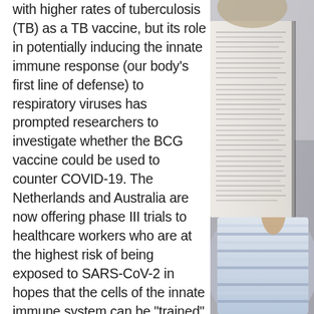with higher rates of tuberculosis (TB) as a TB vaccine, but its role in potentially inducing the innate immune response (our body's first line of defense) to respiratory viruses has prompted researchers to investigate whether the BCG vaccine could be used to counter COVID-19. The Netherlands and Australia are now offering phase III trials to healthcare workers who are at the highest risk of being exposed to SARS-CoV-2 in hopes that the cells of the innate immune system can be "trained" prior to COVID-19 infection and, upon exposure, greatly enhance the immune response, as efforts to develop a definitive vaccine against COVID-19 continue. One concern with this vaccine is that because BCG is a live bacteria, it
[Figure (photo): A person reading a newspaper or printed document, shown from the side/back. The person is wearing a striped shirt. The photo occupies the right portion of the page.]